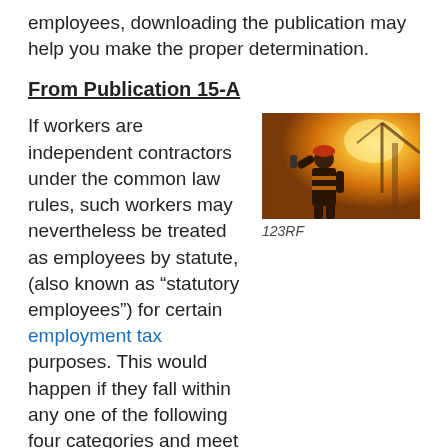employees, downloading the publication may help you make the proper determination.
From Publication 15-A
If workers are independent contractors under the common law rules, such workers may nevertheless be treated as employees by statute, (also known as “statutory employees”) for certain employment tax purposes. This would happen if they fall within any one of the following four categories and meet the three conditions described next under Social security and Medicare taxes.
[Figure (photo): Construction worker wearing safety vest and hard hat, silhouetted against a bright golden sunset with crane in background]
123RF
1. A driver who distributes beverages (other than milk) or meat, vegetable, fruit, or bakery products; or who picks up and delivers laundry or dry cleaning, if the driver is your agent or is paid on commission.
2. A full-time life insurance sales agent whose principal